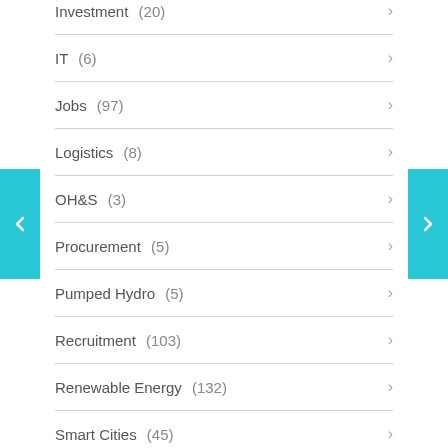Investment  (20)
IT  (6)
Jobs  (97)
Logistics  (8)
OH&S  (3)
Procurement  (5)
Pumped Hydro  (5)
Recruitment  (103)
Renewable Energy  (132)
Smart Cities  (45)